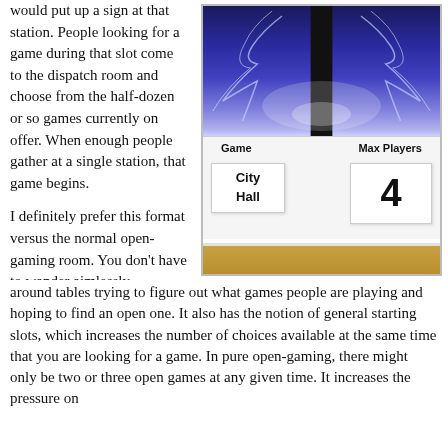would put up a sign at that station. People looking for a game during that slot come to the dispatch room and choose from the half-dozen or so games currently on offer. When enough people gather at a single station, that game begins.
[Figure (photo): Photo of a game dispatch board showing two paper cards under columns labeled 'Game' and 'Max Players'. The 'Game' card reads 'City Hall' and the 'Max Players' card shows '4'. The board has a purple/blue lightning-themed top section and a wooden shelf at the bottom.]
I definitely prefer this format versus the normal open-gaming room. You don't have to wander aimlessly around tables trying to figure out what games people are playing and hoping to find an open one. It also has the notion of general starting slots, which increases the number of choices available at the same time that you are looking for a game. In pure open-gaming, there might only be two or three open games at any given time. It increases the pressure on